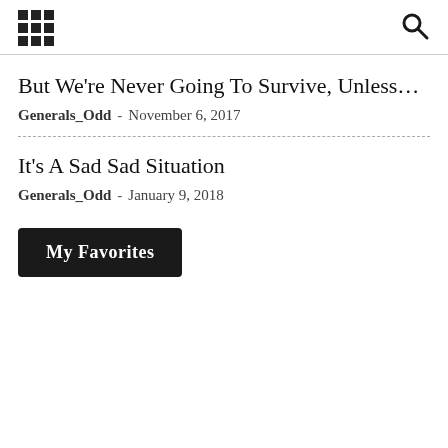[grid icon] [search icon]
But We're Never Going To Survive, Unless...
Generals_Odd - November 6, 2017
It's A Sad Sad Situation
Generals_Odd - January 9, 2018
My Favorites